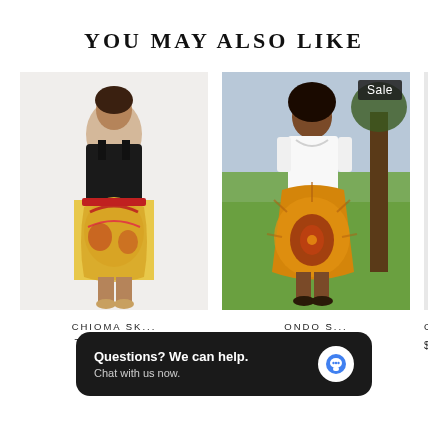YOU MAY ALSO LIKE
[Figure (photo): Woman wearing a colorful African print two-layer skirt with black top, standing on white background]
CHIOMA SKIRT TWO-LAYER DANCE
$75.00
[Figure (photo): Woman wearing a yellow/orange African dashiki print skirt with white top, standing outdoors near a tree. Sale badge in corner.]
ONDO S... LINE S...
$75.00 $60.00
Questions? We can help. Chat with us now.